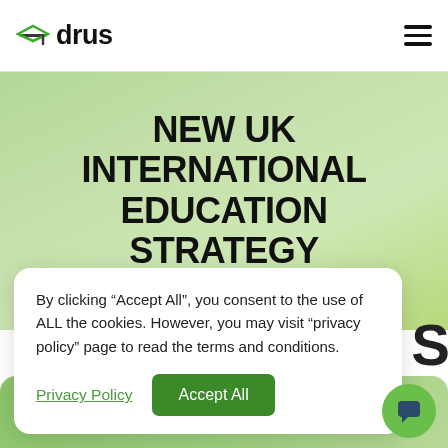Udrus
NEW UK INTERNATIONAL EDUCATION STRATEGY
By clicking “Accept All”, you consent to the use of ALL the cookies. However, you may visit “privacy policy” page to read the terms and conditions.
Privacy Policy | Accept All